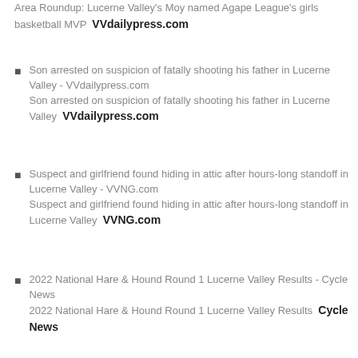Area Roundup: Lucerne Valley's Moy named Agape League's girls basketball MVP  VVdailypress.com
Son arrested on suspicion of fatally shooting his father in Lucerne Valley - VVdailypress.com Son arrested on suspicion of fatally shooting his father in Lucerne Valley  VVdailypress.com
Suspect and girlfriend found hiding in attic after hours-long standoff in Lucerne Valley - VVNG.com Suspect and girlfriend found hiding in attic after hours-long standoff in Lucerne Valley  VVNG.com
2022 National Hare & Hound Round 1 Lucerne Valley Results - Cycle News 2022 National Hare & Hound Round 1 Lucerne Valley Results  Cycle News